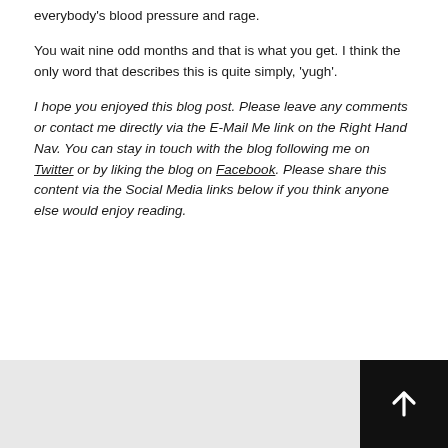everybody's blood pressure and rage.
You wait nine odd months and that is what you get. I think the only word that describes this is quite simply, 'yugh'.
I hope you enjoyed this blog post. Please leave any comments or contact me directly via the E-Mail Me link on the Right Hand Nav. You can stay in touch with the blog following me on Twitter or by liking the blog on Facebook. Please share this content via the Social Media links below if you think anyone else would enjoy reading.